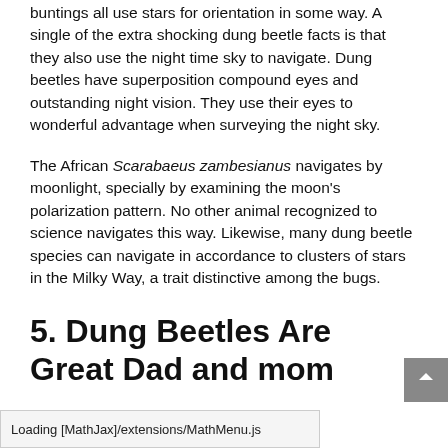buntings all use stars for orientation in some way. A single of the extra shocking dung beetle facts is that they also use the night time sky to navigate. Dung beetles have superposition compound eyes and outstanding night vision. They use their eyes to wonderful advantage when surveying the night sky.
The African Scarabaeus zambesianus navigates by moonlight, specially by examining the moon's polarization pattern. No other animal recognized to science navigates this way. Likewise, many dung beetle species can navigate in accordance to clusters of stars in the Milky Way, a trait distinctive among the bugs.
5. Dung Beetles Are Great Dad and mom